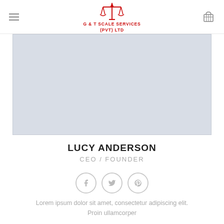G & T SCALE SERVICES (PVT) LTD
[Figure (photo): Gray placeholder image for Lucy Anderson CEO/Founder profile photo]
LUCY ANDERSON
CEO / FOUNDER
[Figure (illustration): Social media icons: Facebook, Twitter, Pinterest in circle outlines]
Lorem ipsum dolor sit amet, consectetur adipiscing elit. Proin ullamcorper